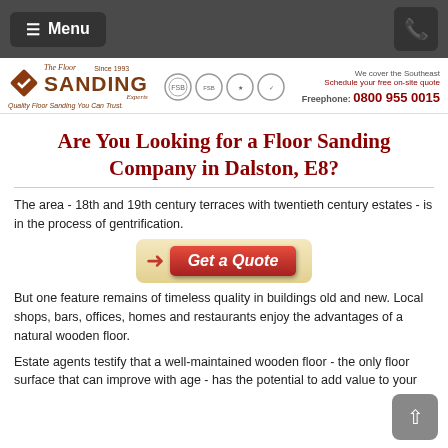≡ Menu  [phone icon]
[Figure (logo): The Floor Sanding Experts logo with diamond icon, Since 1993, quality badges, and contact info: Freephone 0800 955 0015]
Are You Looking for a Floor Sanding Company in Dalston, E8?
The area - 18th and 19th century terraces with twentieth century estates - is in the process of gentrification.
[Figure (other): Get a Quote button with red arrow and red gradient label]
But one feature remains of timeless quality in buildings old and new. Local shops, bars, offices, homes and restaurants enjoy the advantages of a natural wooden floor.
Estate agents testify that a well-maintained wooden floor - the only floor surface that can improve with age - has the potential to add value to your